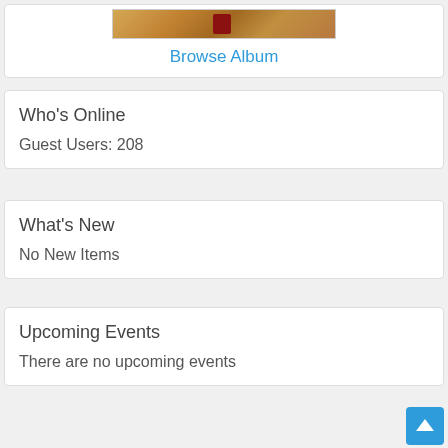[Figure (photo): Photo strip showing wooden furniture/shelf with a dark red accent, partial view]
Browse Album
Who's Online
Guest Users: 208
What's New
No New Items
Upcoming Events
There are no upcoming events